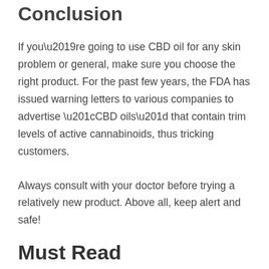Conclusion
If you’re going to use CBD oil for any skin problem or general, make sure you choose the right product. For the past few years, the FDA has issued warning letters to various companies to advertise “CBD oils” that contain trim levels of active cannabinoids, thus tricking customers.
Always consult with your doctor before trying a relatively new product. Above all, keep alert and safe!
Must Read